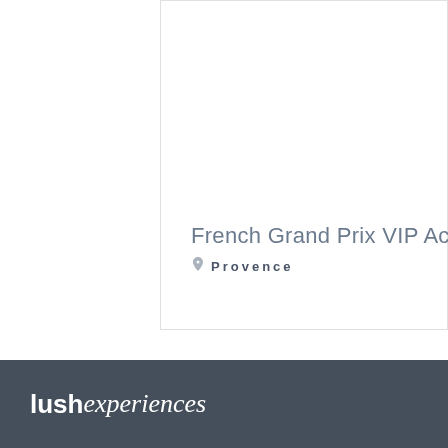French Grand Prix VIP Acces
Provence
lushexperiences